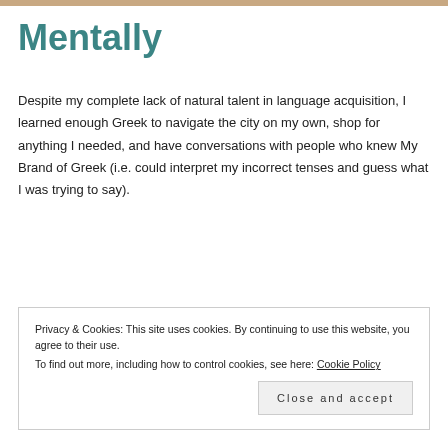[Figure (photo): Decorative image strip at top of page]
Mentally
Despite my complete lack of natural talent in language acquisition, I learned enough Greek to navigate the city on my own, shop for anything I needed, and have conversations with people who knew My Brand of Greek (i.e. could interpret my incorrect tenses and guess what I was trying to say).
Privacy & Cookies: This site uses cookies. By continuing to use this website, you agree to their use.
To find out more, including how to control cookies, see here: Cookie Policy
Close and accept